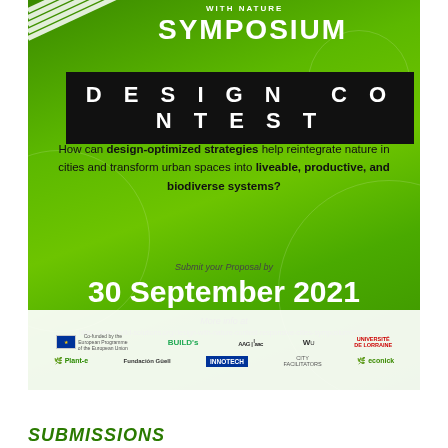CITIES WITH NATURE SYMPOSIUM
DESIGN CONTEST
How can design-optimized strategies help reintegrate nature in cities and transform urban spaces into liveable, productive, and biodiverse systems?
Submit your Proposal by
30 September 2021
More info at
https://www.build-solutions.org/design-with-nature-contest-responsive-cities-symposium/2021/
[Figure (logo): Logos bar: EU flag, BUILD's, Advanced Architecture Group, Iaac, WU, Université de Lorraine, Plant-e, Fundación Guëll, Innotech, City Facilitators, Econick]
SUBMISSIONS